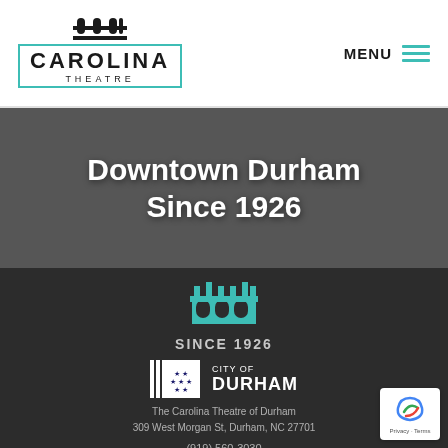Carolina Theatre — MENU
Downtown Durham Since 1926
[Figure (logo): Carolina Theatre building icon in teal]
SINCE 1926
[Figure (logo): City of Durham logo with vertical bars, stars box, and CITY OF DURHAM text]
The Carolina Theatre of Durham
309 West Morgan St, Durham, NC 27701
(919) 560-3030
©2022